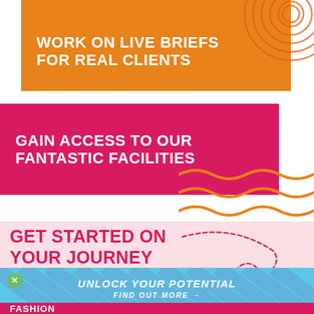[Figure (illustration): Orange concentric circles decorative graphic in top-right area of orange block]
WORK ON LIVE BRIEFS FOR REAL CLIENTS
GAIN ACCESS TO OUR FANTASTIC FACILITIES
[Figure (illustration): Orange wavy lines decorative graphic to the right of the pink block]
GET STARTED ON YOUR JOURNEY
[Figure (illustration): Dashed arrow loop path in pink/crimson color]
UNLOCK YOUR POTENTIAL
FIND OUT MORE →
FASHION